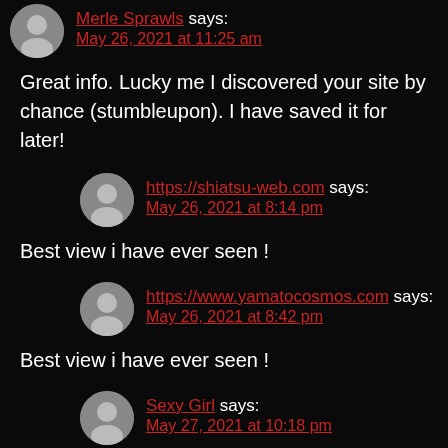Merle Sprawls says: May 26, 2021 at 11:25 am
Great info. Lucky me I discovered your site by chance (stumbleupon). I have saved it for later!
https://shiatsu-web.com says: May 26, 2021 at 8:14 pm
Best view i have ever seen !
https://www.yamatocosmos.com says: May 26, 2021 at 8:42 pm
Best view i have ever seen !
Sexy Girl says: May 27, 2021 at 10:18 pm